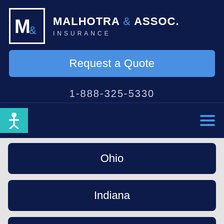[Figure (logo): Malhotra & Assoc. Insurance logo with M& monogram in square border]
MALHOTRA & ASSOC. INSURANCE
Request a Quote
1-888-325-5330
Ohio
Indiana
West Virginia